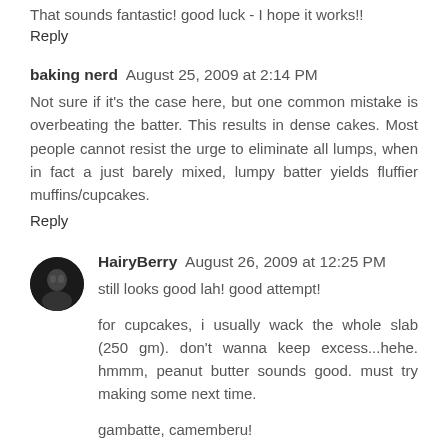That sounds fantastic! good luck - I hope it works!!
Reply
baking nerd  August 25, 2009 at 2:14 PM
Not sure if it's the case here, but one common mistake is overbeating the batter. This results in dense cakes. Most people cannot resist the urge to eliminate all lumps, when in fact a just barely mixed, lumpy batter yields fluffier muffins/cupcakes.
Reply
HairyBerry  August 26, 2009 at 12:25 PM
still looks good lah! good attempt!
for cupcakes, i usually wack the whole slab (250 gm). don't wanna keep excess...hehe. hmmm, peanut butter sounds good. must try making some next time.
gambatte, camemberu!